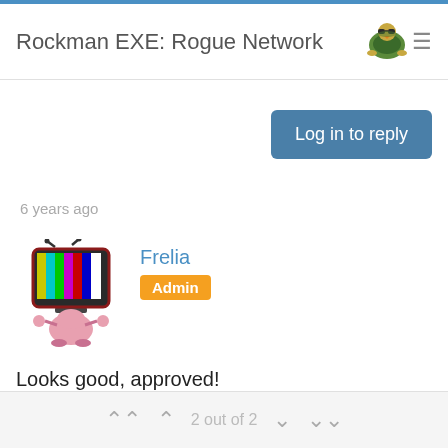Rockman EXE: Rogue Network
Log in to reply
6 years ago
[Figure (illustration): Cartoon avatar of a TV-headed character with antennae and colorful test pattern screen, pink body]
Frelia
Admin
Looks good, approved!
Log in to reply
2 out of 2